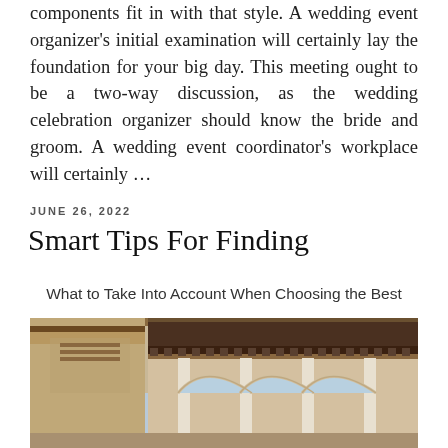components fit in with that style. A wedding event organizer's initial examination will certainly lay the foundation for your big day. This meeting ought to be a two-way discussion, as the wedding celebration organizer should know the bride and groom. A wedding event coordinator's workplace will certainly ...
JUNE 26, 2022
Smart Tips For Finding
What to Take Into Account When Choosing the Best
[Figure (photo): Architectural photograph of an ornate Moorish or Spanish colonial style building courtyard, showing decorated arches with white columns, intricate stone carvings along rooflines, and a blue sky visible above. The building features horseshoe arches, ornamental friezes, and traditional tilework.]